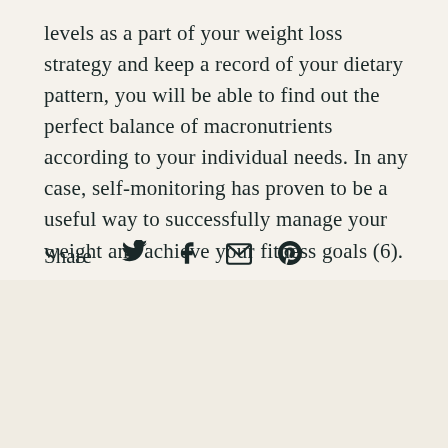levels as a part of your weight loss strategy and keep a record of your dietary pattern, you will be able to find out the perfect balance of macronutrients according to your individual needs. In any case, self-monitoring has proven to be a useful way to successfully manage your weight and achieve your fitness goals (6).
Share